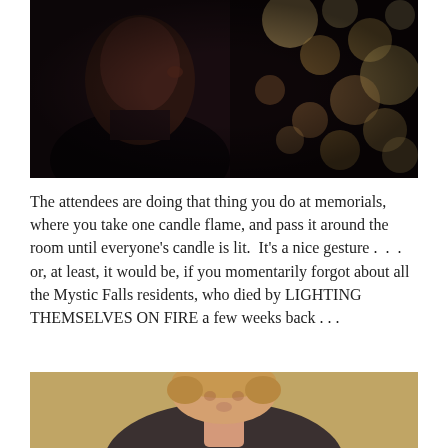[Figure (photo): Dramatic dark portrait of a man in a suit, with warm bokeh light circles in the background on the right side]
The attendees are doing that thing you do at memorials, where you take one candle flame, and pass it around the room until everyone’s candle is lit.  It’s a nice gesture .  . .  or, at least, it would be, if you momentarily forgot about all the Mystic Falls residents, who died by LIGHTING THEMSELVES ON FIRE a few weeks back . . .
[Figure (photo): A person with short blonde hair, cropped at the top of the image, with a warm sepia-toned background]